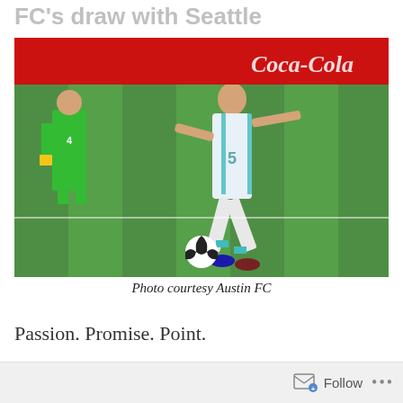FC's draw with Seattle
[Figure (photo): Soccer player wearing white jersey with number 5 dribbling a ball on a green field during a match, with a goalkeeper in green uniform visible in the background and a Coca-Cola advertising banner behind them.]
Photo courtesy Austin FC
Passion. Promise. Point.
Follow ...